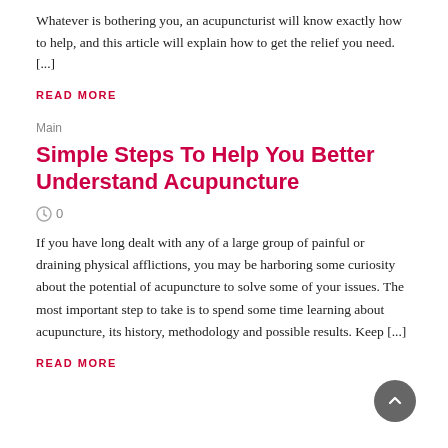Whatever is bothering you, an acupuncturist will know exactly how to help, and this article will explain how to get the relief you need. [...]
READ MORE
Main
Simple Steps To Help You Better Understand Acupuncture
0
If you have long dealt with any of a large group of painful or draining physical afflictions, you may be harboring some curiosity about the potential of acupuncture to solve some of your issues. The most important step to take is to spend some time learning about acupuncture, its history, methodology and possible results. Keep [...]
READ MORE